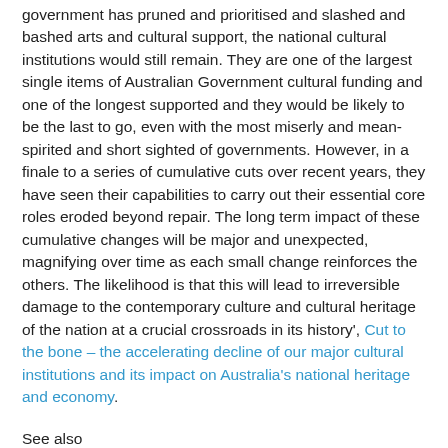government has pruned and prioritised and slashed and bashed arts and cultural support, the national cultural institutions would still remain. They are one of the largest single items of Australian Government cultural funding and one of the longest supported and they would be likely to be the last to go, even with the most miserly and mean-spirited and short sighted of governments. However, in a finale to a series of cumulative cuts over recent years, they have seen their capabilities to carry out their essential core roles eroded beyond repair. The long term impact of these cumulative changes will be major and unexpected, magnifying over time as each small change reinforces the others. The likelihood is that this will lead to irreversible damage to the contemporary culture and cultural heritage of the nation at a crucial crossroads in its history', Cut to the bone – the accelerating decline of our major cultural institutions and its impact on Australia's national heritage and economy.
See also
An everyday life worth living – indefinite articles for a clean, clever and creative future